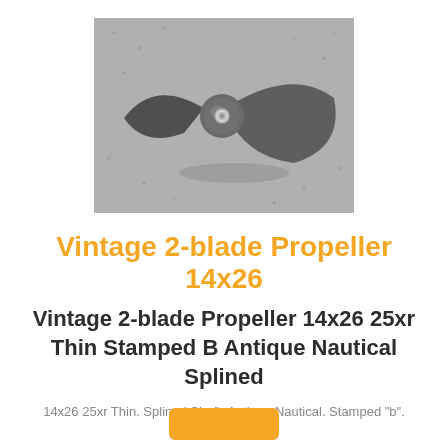[Figure (photo): A vintage 2-blade metal boat propeller photographed on a sandy/gravelly surface. The propeller is dark gray/silver metallic with two swept blades and a center hub with a small hole.]
Vintage 2-blade Propeller 14x26
Vintage 2-blade Propeller 14x26 25xr Thin Stamped B Antique Nautical Splined
14x26 25xr Thin. Splined Shaft. Antique Nautical. Stamped "b".